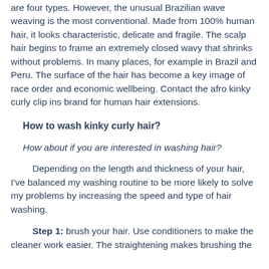are four types. However, the unusual Brazilian wave weaving is the most conventional. Made from 100% human hair, it looks characteristic, delicate and fragile. The scalp hair begins to frame an extremely closed wavy that shrinks without problems. In many places, for example in Brazil and Peru. The surface of the hair has become a key image of race order and economic wellbeing. Contact the afro kinky curly clip ins brand for human hair extensions.
How to wash kinky curly hair?
How about if you are interested in washing hair?
Depending on the length and thickness of your hair, I've balanced my washing routine to be more likely to solve my problems by increasing the speed and type of hair washing.
Step 1: brush your hair. Use conditioners to make the cleaner work easier. The straightening makes brushing the